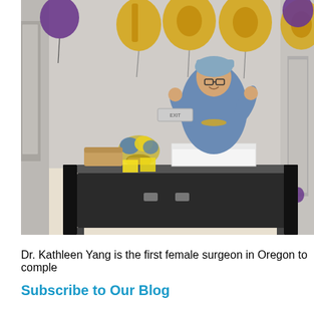[Figure (photo): A female surgeon in scrubs and surgical cap standing behind a black cart in a hospital hallway, celebrating with gold number balloons (1, 0, 0, 0) and purple balloons, with flowers and a cake on the cart.]
Dr. Kathleen Yang is the first female surgeon in Oregon to comple
Subscribe to Our Blog